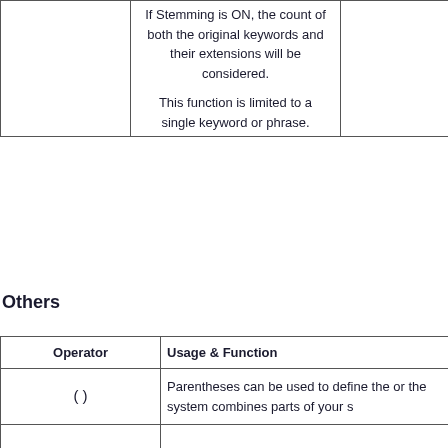|  | Usage & Function |  |
| --- | --- | --- |
|  | If Stemming is ON, the count of both the original keywords and their extensions will be considered.

This function is limited to a single keyword or phrase. |  |
Others
| Operator | Usage & Function |
| --- | --- |
| () | Parentheses can be used to define the order the system combines parts of your s... |
| [] | Limit the start and end range of dates, nu... classification numbers when buil... yo... |